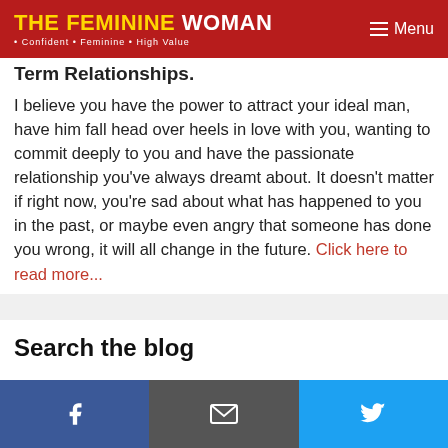THE FEMININE WOMAN • Confident • Feminine • High Value | Menu
Term Relationships.
I believe you have the power to attract your ideal man, have him fall head over heels in love with you, wanting to commit deeply to you and have the passionate relationship you've always dreamt about. It doesn't matter if right now, you're sad about what has happened to you in the past, or maybe even angry that someone has done you wrong, it will all change in the future. Click here to read more...
Search the blog
[Figure (other): Social share buttons: Facebook (blue), Email (dark gray), Twitter (light blue) with respective icons]